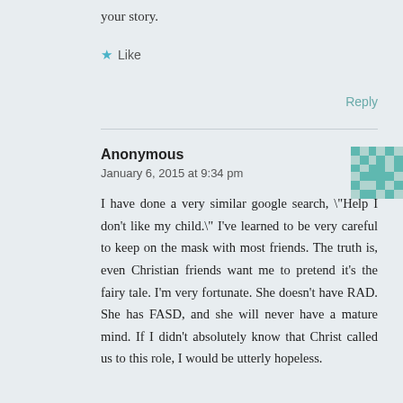your story.
★ Like
Reply
Anonymous
January 6, 2015 at 9:34 pm
I have done a very similar google search, "Help I don't like my child." I've learned to be very careful to keep on the mask with most friends. The truth is, even Christian friends want me to pretend it's the fairy tale. I'm very fortunate. She doesn't have RAD. She has FASD, and she will never have a mature mind. If I didn't absolutely know that Christ called us to this role, I would be utterly hopeless.
[Figure (illustration): Pixelated geometric pattern avatar in teal/green and white colors]